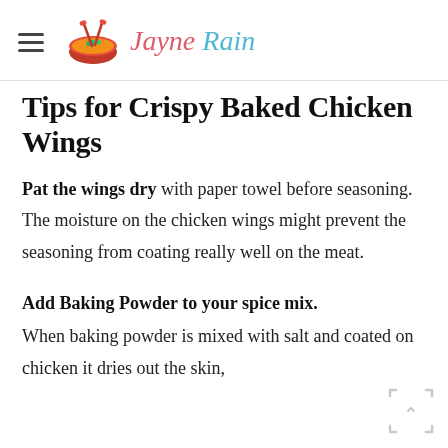Jayne Rain
Tips for Crispy Baked Chicken Wings
Pat the wings dry with paper towel before seasoning.  The moisture on the chicken wings might prevent the seasoning from coating really well on the meat.
Add Baking Powder to your spice mix. When baking powder is mixed with salt and coated on chicken it dries out the skin,